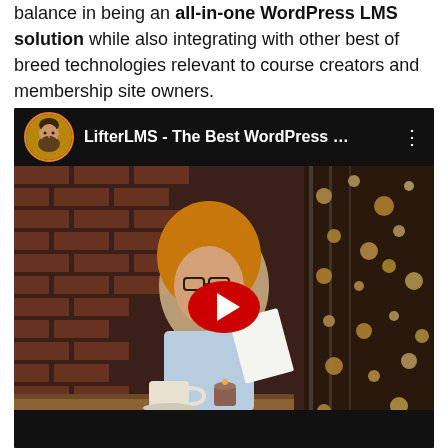balance in being an all-in-one WordPress LMS solution while also integrating with other best of breed technologies relevant to course creators and membership site owners.
[Figure (screenshot): Embedded YouTube video thumbnail showing 'LifterLMS - The Best WordPress ...' with a woman studying at a cafe with a brick wall background, red YouTube play button overlay, and channel avatar of a bearded man.]